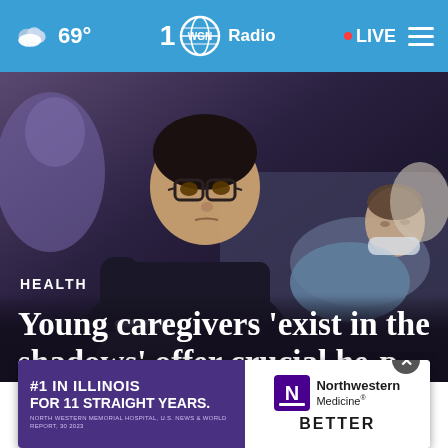69° WGN Radio • LIVE
[Figure (photo): A young person wearing glasses and a dark t-shirt is leaning forward, holding a bag or container, appearing to be a caregiver. In the background, a man is reclining on a couch or bed, appearing ill or resting.]
HEALTH
Young caregivers 'exist in the shadows' offer crucial he-p
[Figure (other): Northwestern Medicine advertisement banner: #1 IN ILLINOIS FOR 11 STRAIGHT YEARS. Northwestern Medicine BETTER. NORTHWESTERN MEMORIAL HOSPITAL, U.S. NEWS & WORLD REPORT, 30 2023]